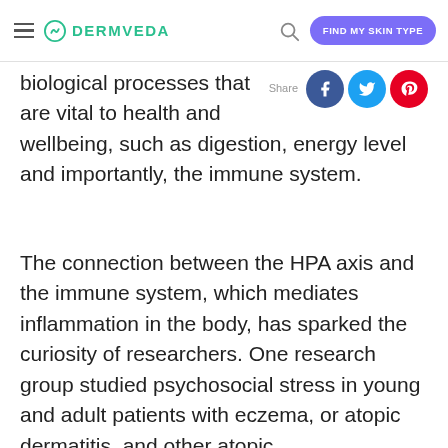DERMVEDA — FIND MY SKIN TYPE
biological processes that are vital to health and wellbeing, such as digestion, energy level and importantly, the immune system.
The connection between the HPA axis and the immune system, which mediates inflammation in the body, has sparked the curiosity of researchers. One research group studied psychosocial stress in young and adult patients with eczema, or atopic dermatitis, and other atopic